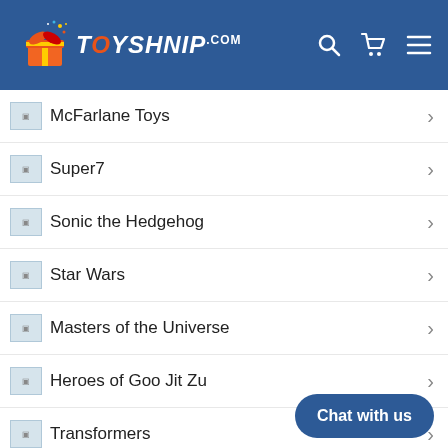TOYSHNIP.COM
McFarlane Toys
Super7
Sonic the Hedgehog
Star Wars
Masters of the Universe
Heroes of Goo Jit Zu
Transformers
Power Rangers
Mego
Chat with us